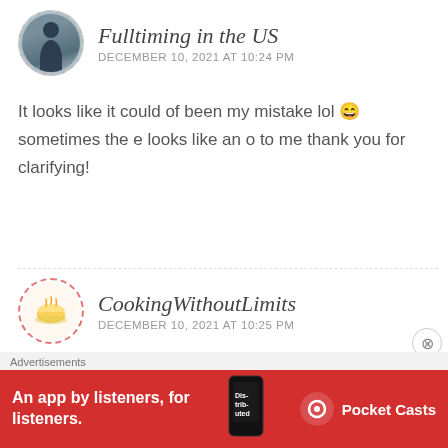Fulltiming in the US
DECEMBER 10, 2021 AT 10:24 PM
It looks like it could of been my mistake lol 😄 sometimes the e looks like an o to me thank you for clarifying!
CookingWithoutLimits
DECEMBER 10, 2021 AT 10:25 PM
No problem
Advertisements
An app by listeners, for listeners.
Pocket Casts